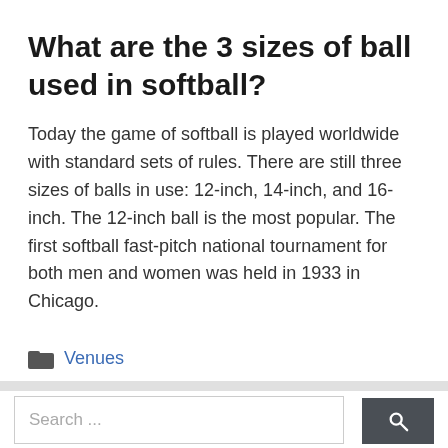What are the 3 sizes of ball used in softball?
Today the game of softball is played worldwide with standard sets of rules. There are still three sizes of balls in use: 12-inch, 14-inch, and 16-inch. The 12-inch ball is the most popular. The first softball fast-pitch national tournament for both men and women was held in 1933 in Chicago.
Venues
Search ...